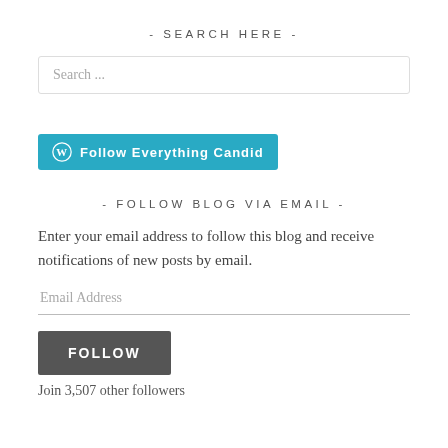- SEARCH HERE -
[Figure (screenshot): Search input box with placeholder text 'Search ...']
[Figure (screenshot): WordPress Follow button labeled 'Follow Everything Candid' in teal/blue color]
- FOLLOW BLOG VIA EMAIL -
Enter your email address to follow this blog and receive notifications of new posts by email.
[Figure (screenshot): Email address input field with placeholder 'Email Address']
[Figure (screenshot): Dark gray FOLLOW button]
Join 3,507 other followers